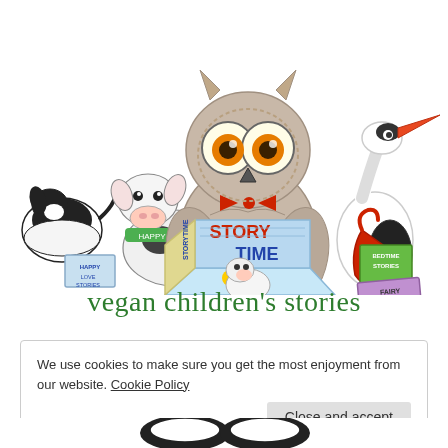[Figure (illustration): Hand-drawn colored pencil illustration of an owl wearing a red bow tie, reading a book labeled 'STORY TIME'. Surrounded by a cow, a small calf, a black and white dog, and a stork/heron, all with various storybooks. Books visible include 'HAPPY STORIES', 'STORYTIME', 'STORY TIME', 'BEDTIME STORIES', 'FAIRY TALES'.]
vegan children's stories
We use cookies to make sure you get the most enjoyment from our website. Cookie Policy